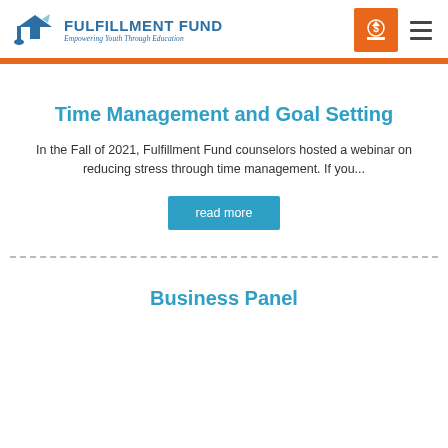Fulfillment Fund — Empowering Youth Through Education
Time Management and Goal Setting
In the Fall of 2021, Fulfillment Fund counselors hosted a webinar on reducing stress through time management. If you...
read more
Business Panel